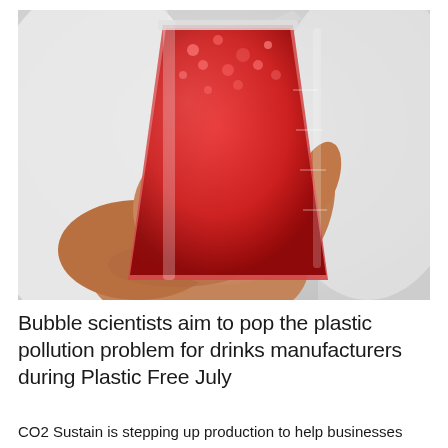[Figure (photo): A hand holding a laboratory beaker filled with red bubbly liquid, against a white blurred background. The person appears to be wearing a white lab coat.]
Bubble scientists aim to pop the plastic pollution problem for drinks manufacturers during Plastic Free July
CO2 Sustain is stepping up production to help businesses